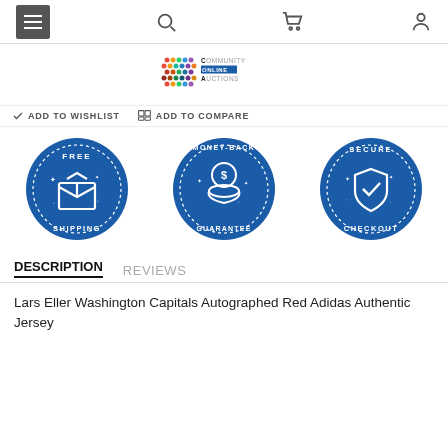[Figure (screenshot): Navigation bar with hamburger menu icon (dark grey square), search icon, cart icon, and user/account icon]
[Figure (logo): Community Online Auctions logo with colorful dots pattern and text]
ADD TO WISHLIST  ADD TO COMPARE
[Figure (infographic): Three circular blue badge icons: Free Shipping (box icon), Money-Back Guarantee (hand with coin icon), Secure Checkout (shield with checkmark icon)]
DESCRIPTION   REVIEWS
Lars Eller Washington Capitals Autographed Red Adidas Authentic Jersey